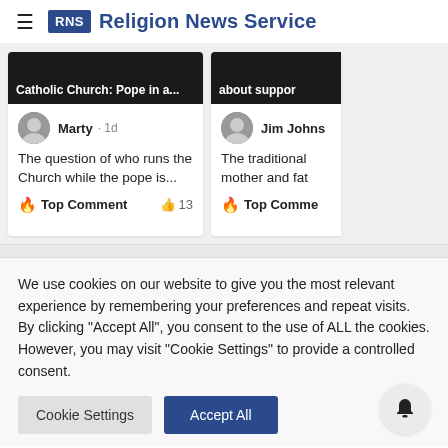RNS Religion News Service
[Figure (screenshot): Card showing article about Catholic Church Pope with user Marty, 1d ago, comment: The question of who runs the Church while the pope is..., Top Comment, 13 likes]
[Figure (screenshot): Partial card showing article about support with user Jim Johns, comment: The traditional mother and fat..., Top Comment]
We use cookies on our website to give you the most relevant experience by remembering your preferences and repeat visits. By clicking "Accept All", you consent to the use of ALL the cookies. However, you may visit "Cookie Settings" to provide a controlled consent.
Cookie Settings | Accept All